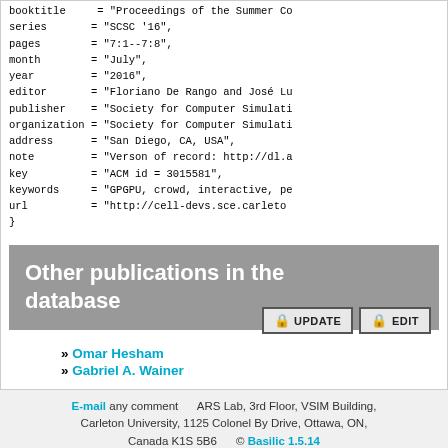booktitle = "Proceedings of the Summer Co..."
series = "SCSC '16",
pages = "7:1--7:8",
month = "July",
year = "2016",
editor = "Floriano De Rango and José Lu..."
publisher = "Society for Computer Simulati..."
organization = "Society for Computer Simulati..."
address = "San Diego, CA, USA",
note = "Verson of record: http://dl.a..."
key = "ACM id = 3015581",
keywords = "GPGPU, crowd, interactive, pe..."
url = "http://cell-devs.sce.carleto..."
}
Other publications in the database
» Omar Hesham
» Gabriel A. Wainer
E-mail any comment    ARS Lab, 3rd Floor, VSIM Building, Carleton University, 1125 Colonel By Drive, Ottawa, ON, Canada K1S 5B6    © Basilic 1.5.14